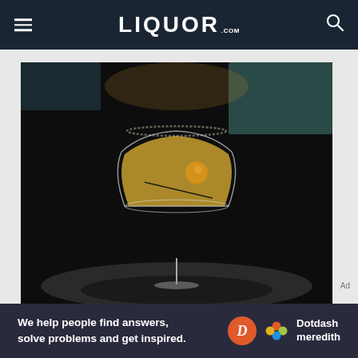LIQUOR.COM
[Figure (photo): A golden yellow cocktail in a coupe glass with a round garnish (likely a gooseberry or similar fruit) on a cocktail pick, photographed against a dark background on a reflective surface]
We help people find answers, solve problems and get inspired.
[Figure (logo): Dotdash Meredith logo with orange D circle and colorful hexagon flower icon]